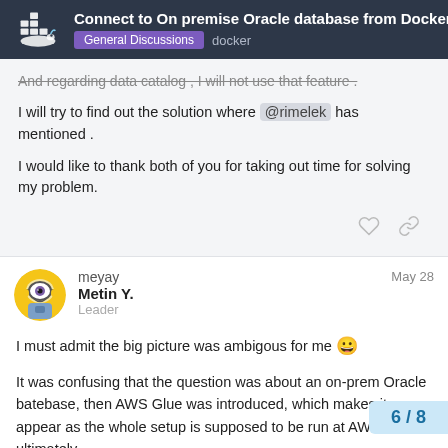Connect to On premise Oracle database from Docker ... General Discussions docker
And regarding data catalog , I will not use that feature .
I will try to find out the solution where @rimelek has mentioned .
I would like to thank both of you for taking out time for solving my problem.
meyay  Metin Y.  Leader  May 28
I must admit the big picture was ambigous for me 😀
It was confusing that the question was about an on-prem Oracle batebase, then AWS Glue was introduced, which makes it appear as the whole setup is supposed to be run at AWS ultimately.
On-Prem does not realy implicate that it wo... localy on the docker host itself. Choise of w...
6 / 8